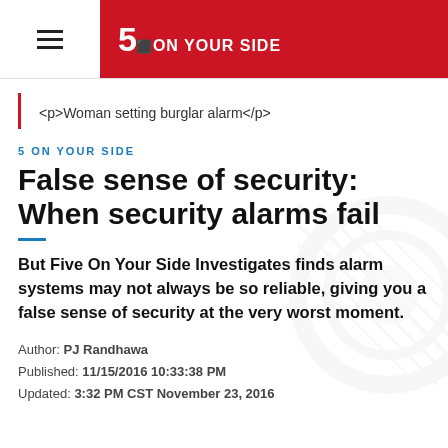5 ON YOUR SIDE
[Figure (photo): Woman setting burglar alarm - image placeholder with caption tag]
5 ON YOUR SIDE
False sense of security: When security alarms fail
But Five On Your Side Investigates finds alarm systems may not always be so reliable, giving you a false sense of security at the very worst moment.
Author: PJ Randhawa
Published: 11/15/2016 10:33:38 PM
Updated: 3:32 PM CST November 23, 2016